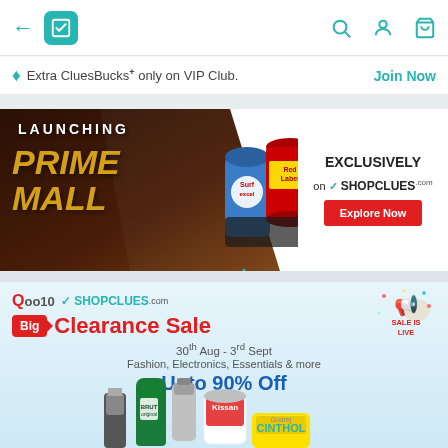ShopClues app navigation bar with back arrow, bag icon, search, account, and cart icons
Extra CluesBucks+ only on VIP Club. Join Now
[Figure (infographic): Prime Mall launching banner. Left dark brown/gold triangle with 'LAUNCHING' text and 'PRIME MALL' in gold italic. Center shows product images (Surf Excel, Red Label tea, other groceries). Right white panel: 'EXCLUSIVELY on SHOPCLUES' with red 'Explore Now' button.]
[Figure (infographic): Qoo10 x ShopClues Big Clearance Sale banner. Shows Qoo10 and ShopClues logos, 'SALE IS LIVE' badge top right, 'Big Clearance Sale' heading in red, date '30th Aug - 3rd Sept', 'Fashion, Electronics, Essentials & more', 'Upto 90% Off' in blue bold. Bottom shows product images including trimmer, Brut deodorant, Kissan jam, Godrej Cinthol soap.]